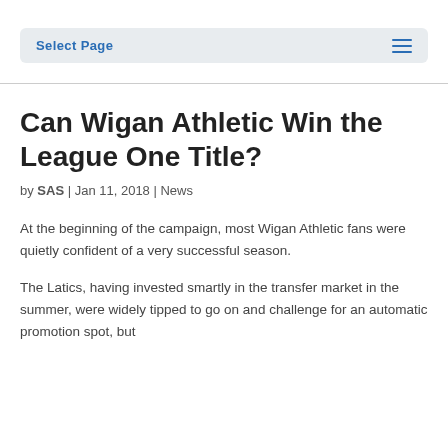Select Page
Can Wigan Athletic Win the League One Title?
by SAS | Jan 11, 2018 | News
At the beginning of the campaign, most Wigan Athletic fans were quietly confident of a very successful season.
The Latics, having invested smartly in the transfer market in the summer, were widely tipped to go on and challenge for an automatic promotion spot, but